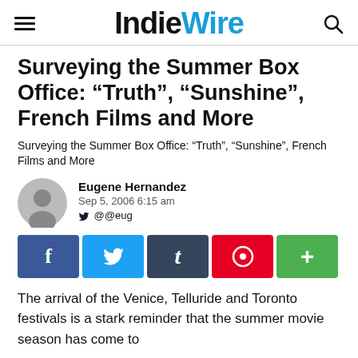IndieWire
Surveying the Summer Box Office: “Truth”, “Sunshine”, French Films and More
Surveying the Summer Box Office: “Truth”, “Sunshine”, French Films and More
Eugene Hernandez
Sep 5, 2006 6:15 am
@@eug
[Figure (infographic): Social share buttons: Facebook (f), Twitter (bird icon), Tumblr (t), Pinterest (target icon), More (+)]
The arrival of the Venice, Telluride and Toronto festivals is a stark reminder that the summer movie season has come to